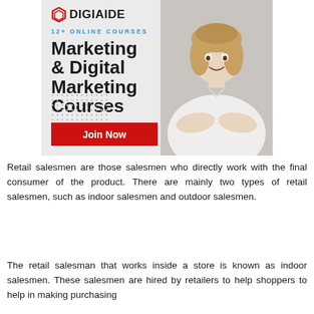[Figure (illustration): Digiaide advertisement banner for Marketing & Digital Marketing Courses with 12+ Online Courses tagline, a Join Now red button, and a photo of a woman with arms crossed on the right side]
Retail salesmen are those salesmen who directly work with the final consumer of the product. There are mainly two types of retail salesmen, such as indoor salesmen and outdoor salesmen.
The retail salesman that works inside a store is known as indoor salesmen. These salesmen are hired by retailers to help shoppers to help in making purchasing